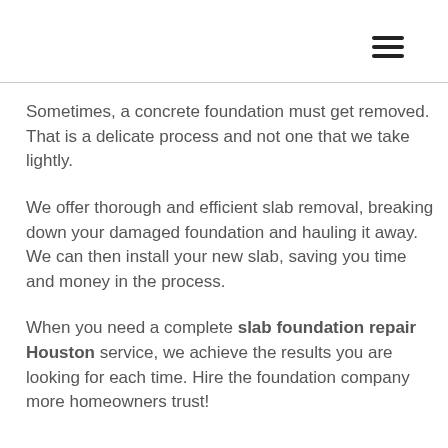[Figure (other): Hamburger menu icon (three horizontal lines) in top-right corner]
Sometimes, a concrete foundation must get removed. That is a delicate process and not one that we take lightly.
We offer thorough and efficient slab removal, breaking down your damaged foundation and hauling it away. We can then install your new slab, saving you time and money in the process.
When you need a complete slab foundation repair Houston service, we achieve the results you are looking for each time. Hire the foundation company more homeowners trust!